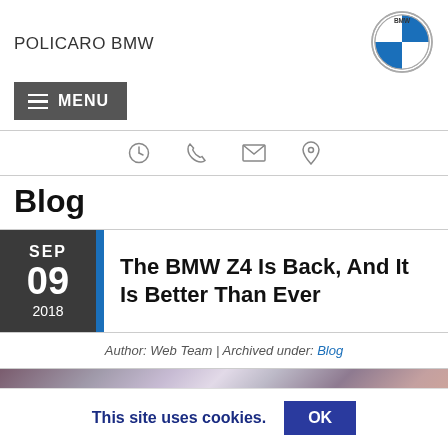POLICARO BMW
[Figure (logo): BMW roundel logo — circle with BMW text at top, blue and white quartered circle inside]
MENU
[Figure (infographic): Icon bar with clock, phone, envelope, and map pin icons]
Blog
SEP 09 2018
The BMW Z4 Is Back, And It Is Better Than Ever
Author: Web Team | Archived under: Blog
[Figure (photo): Partially visible car photo with muted purple and grey tones]
This site uses cookies. OK